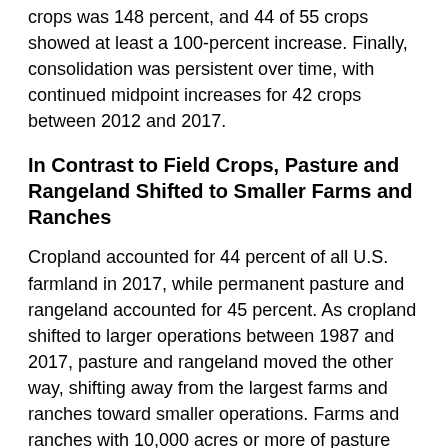crops was 148 percent, and 44 of 55 crops showed at least a 100-percent increase. Finally, consolidation was persistent over time, with continued midpoint increases for 42 crops between 2012 and 2017.
In Contrast to Field Crops, Pasture and Rangeland Shifted to Smaller Farms and Ranches
Cropland accounted for 44 percent of all U.S. farmland in 2017, while permanent pasture and rangeland accounted for 45 percent. As cropland shifted to larger operations between 1987 and 2017, pasture and rangeland moved the other way, shifting away from the largest farms and ranches toward smaller operations. Farms and ranches with 10,000 acres or more of pasture and rangeland held 43 percent of all such acreage in 2017, down from 51 percent in 1987, with most of the land moving to farms and ranches with less than 500 acres.